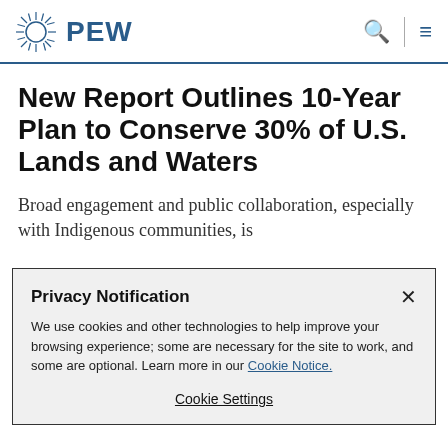PEW
New Report Outlines 10-Year Plan to Conserve 30% of U.S. Lands and Waters
Broad engagement and public collaboration, especially with Indigenous communities, is
Privacy Notification
We use cookies and other technologies to help improve your browsing experience; some are necessary for the site to work, and some are optional. Learn more in our Cookie Notice.
Cookie Settings